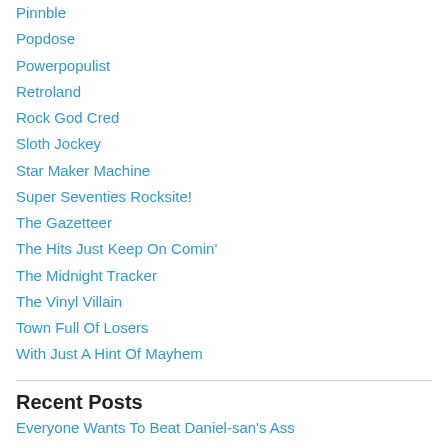Pinnble
Popdose
Powerpopulist
Retroland
Rock God Cred
Sloth Jockey
Star Maker Machine
Super Seventies Rocksite!
The Gazetteer
The Hits Just Keep On Comin'
The Midnight Tracker
The Vinyl Villain
Town Full Of Losers
With Just A Hint Of Mayhem
Recent Posts
Everyone Wants To Beat Daniel-san's Ass
The Clicker
Killer On The Rampage – Somewhere